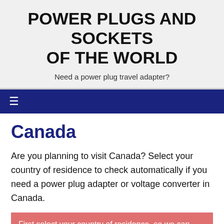POWER PLUGS AND SOCKETS OF THE WORLD
Need a power plug travel adapter?
Canada
Are you planning to visit Canada? Select your country of residence to check automatically if you need a power plug adapter or voltage converter in Canada.
First select your country of residence, so we can give you more
Find travel adapters at AMAZON #ad